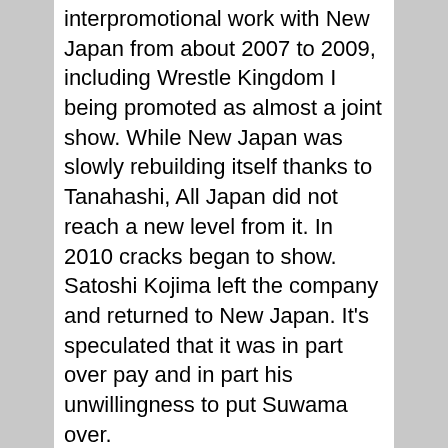interpromotional work with New Japan from about 2007 to 2009, including Wrestle Kingdom I being promoted as almost a joint show. While New Japan was slowly rebuilding itself thanks to Tanahashi, All Japan did not reach a new level from it. In 2010 cracks began to show. Satoshi Kojima left the company and returned to New Japan. It's speculated that it was in part over pay and in part his unwillingness to put Suwama over.
[Figure (screenshot): YouTube video thumbnail showing GAORA Sports logo, text 'Champion Carnival' and 'AJPW VS NJPW!!Suwama v...' with two wrestlers and 'FIN' text visible, with a red YouTube play button overlay.]